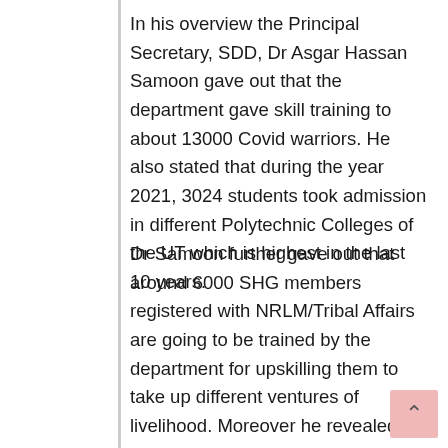In his overview the Principal Secretary, SDD, Dr Asgar Hassan Samoon gave out that the department gave skill training to about 13000 Covid warriors. He also stated that during the year 2021, 3024 students took admission in different Polytechnic Colleges of the UT which is highest in the last 10 years.
Dr Samoon further gave out that around 6000 SHG members registered with NRLM/Tribal Affairs are going to be trained by the department for upskilling them to take up different ventures of livelihood. Moreover he revealed that nearly 1000 youth had been placed by the institutions of the department in past two years.